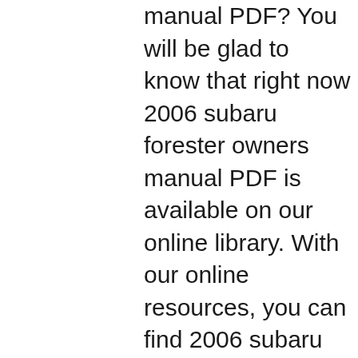manual PDF? You will be glad to know that right now 2006 subaru forester owners manual PDF is available on our online library. With our online resources, you can find 2006 subaru forester owners manual or just about any type of ebooks, for any type of product. Best of all, they are entirely free to Download manual guide of Subaru Forester 2006 Handbuch in pdf that we indexed in Manual Guide. This manual books file was hosted in www.subaru.com that avaialble for FREE DOWNLOAD